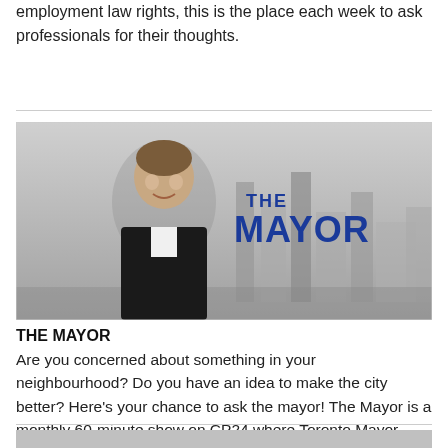employment law rights, this is the place each week to ask professionals for their thoughts.
[Figure (photo): Promotional banner for 'The Mayor' show on CP24, featuring a man in a suit smiling against a black-and-white city skyline, with bold blue text reading 'THE MAYOR']
THE MAYOR
Are you concerned about something in your neighbourhood? Do you have an idea to make the city better? Here's your chance to ask the mayor! The Mayor is a monthly 60-minute show on CP24 where Toronto Mayor John Tory answers your questions.
[Figure (photo): Bottom image partially visible, gray background]